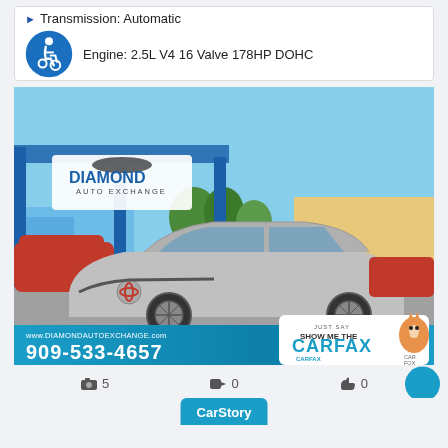Transmission: Automatic
Engine: 2.5L V4 16 Valve 178HP DOHC
[Figure (photo): Silver Toyota Camry sedan at Diamond Auto Exchange dealership lot. Shows dealership signage, other cars, and CARFAX badge. Bottom bar shows www.DIAMONDAUTOEXCHANGE.com and phone 909-533-4657.]
5 photos, 0 videos, 0 likes
CarStory